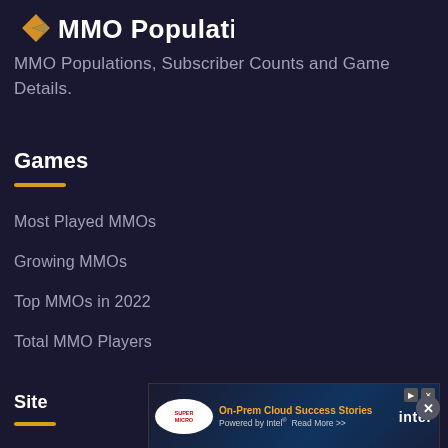[Figure (logo): MMO Populations logo with yellow/orange diamond arrow icon and white text 'MMO Populations']
MMO Populations, Subscriber Counts and Game Details.
Games
Most Played MMOs
Growing MMOs
Top MMOs in 2022
Total MMO Players
Site
[Figure (screenshot): Advertisement banner: Supermicro - On-Prem Cloud Success Stories - Powered by Intel - Read More >> intel logo]